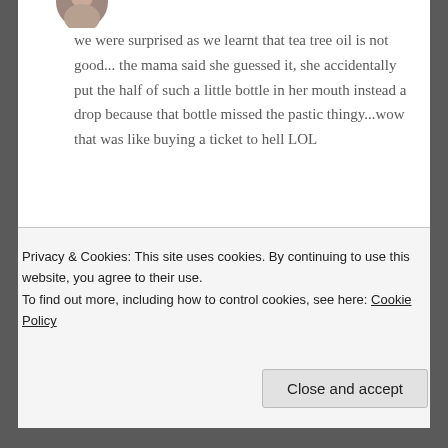[Figure (photo): Partial view of a circular avatar image at the top left of a comment]
we were surprised as we learnt that tea tree oil is not good... the mama said she guessed it, she accidentally put the half of such a little bottle in her mouth instead a drop because that bottle missed the pastic thingy...wow that was like buying a ticket to hell LOL
★ Loading...
Reply
Privacy & Cookies: This site uses cookies. By continuing to use this website, you agree to their use.
To find out more, including how to control cookies, see here: Cookie Policy
Close and accept